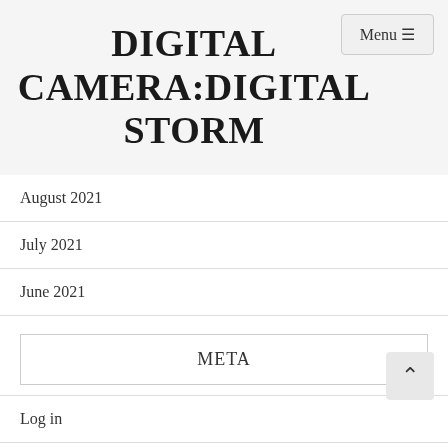DIGITAL CAMERA:DIGITAL STORM
August 2021
July 2021
June 2021
META
Log in
Entries feed